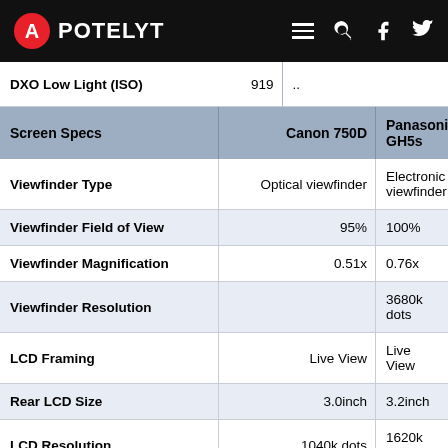APOTELYT
| Screen Specs | Canon 750D | Panasonic GH5s |
| --- | --- | --- |
| Viewfinder Type | Optical viewfinder | Electronic viewfinder |
| Viewfinder Field of View | 95% | 100% |
| Viewfinder Magnification | 0.51x | 0.76x |
| Viewfinder Resolution |  | 3680k dots |
| LCD Framing | Live View | Live View |
| Rear LCD Size | 3.0inch | 3.2inch |
| LCD Resolution | 1040k dots | 1620k dots |
| LCD Attachment | Swivel screen | Swivel screen |
| Touch I... | Touch... | Touch... |